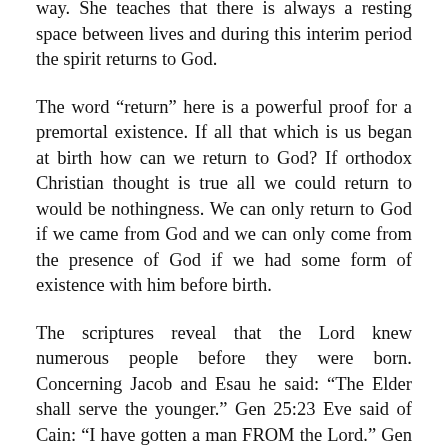way. She teaches that there is always a resting space between lives and during this interim period the spirit returns to God.
The word “return” here is a powerful proof for a premortal existence. If all that which is us began at birth how can we return to God? If orthodox Christian thought is true all we could return to would be nothingness. We can only return to God if we came from God and we can only come from the presence of God if we had some form of existence with him before birth.
The scriptures reveal that the Lord knew numerous people before they were born. Concerning Jacob and Esau he said: “The Elder shall serve the younger.” Gen 25:23 Eve said of Cain: “I have gotten a man FROM the Lord.” Gen 4:1 Another good example comes from Jeremiah: “Then came the word of the Lord unto me saying, Before I formed thee in the belly I knew thee; and before thou camest forth out of the womb I sanctified thee, and I ordained thee a prophet unto the